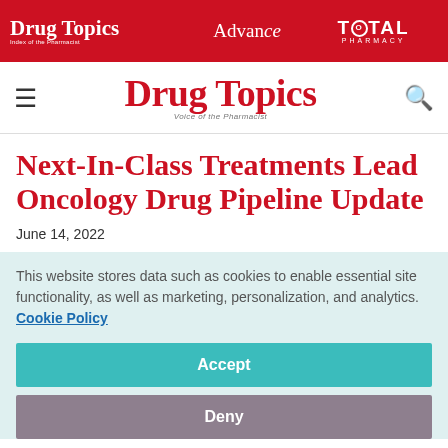Drug Topics | Advance | TOTAL PHARMACY
[Figure (logo): Drug Topics logo with navigation bar including hamburger menu and search icon]
Next-In-Class Treatments Lead Oncology Drug Pipeline Update
June 14, 2022
This website stores data such as cookies to enable essential site functionality, as well as marketing, personalization, and analytics. Cookie Policy
Accept
Deny